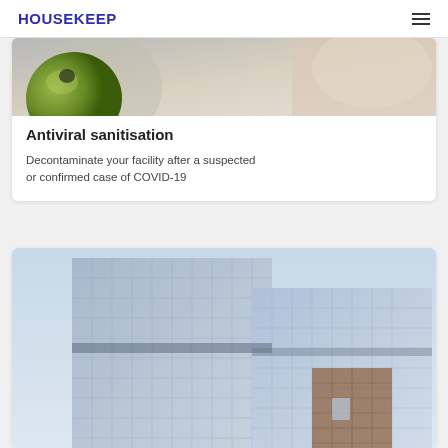HOUSEKEEP
[Figure (photo): Close-up photo of a green apple or similar object, blurred background — top portion of card image]
Antiviral sanitisation
Decontaminate your facility after a suspected or confirmed case of COVID-19
[Figure (photo): Photo of a modern glass office building exterior, partly visible from below]